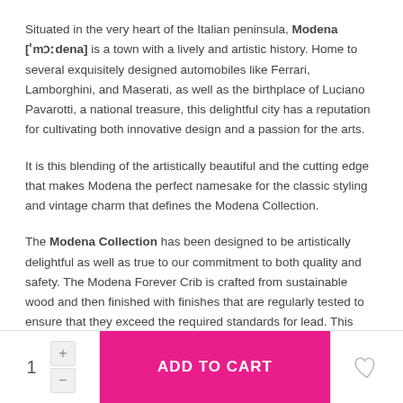Situated in the very heart of the Italian peninsula, Modena ['mɔːdena] is a town with a lively and artistic history. Home to several exquisitely designed automobiles like Ferrari, Lamborghini, and Maserati, as well as the birthplace of Luciano Pavarotti, a national treasure, this delightful city has a reputation for cultivating both innovative design and a passion for the arts.
It is this blending of the artistically beautiful and the cutting edge that makes Modena the perfect namesake for the classic styling and vintage charm that defines the Modena Collection.
The Modena Collection has been designed to be artistically delightful as well as true to our commitment to both quality and safety. The Modena Forever Crib is crafted from sustainable wood and then finished with finishes that are regularly tested to ensure that they exceed the required standards for lead. This collection is complimented by a textured finish that is reminiscent of an antique style. It is available in Granite, a distressed gray finish, and Vintage White, a finish that is predominately white with grey highlights. Both of these finishes are lovely